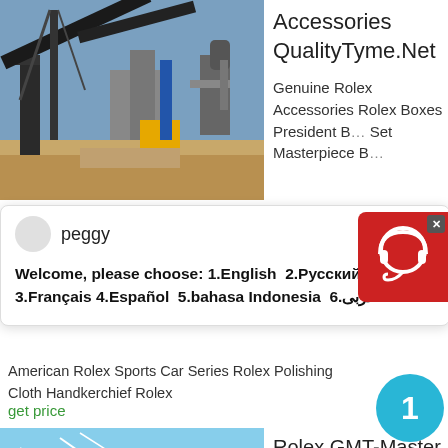[Figure (photo): Industrial mining conveyor belt machinery at a construction or mining site under blue sky]
Accessories QualityTyme.Net

Genuine Rolex Accessories Rolex Boxes President B... Set Masterpiece B...
[Figure (other): Chat popup with avatar named peggy. Message: Welcome, please choose: 1.English 2.Русский 3.Français 4.Español 5.bahasa Indonesia 6.عربى]
[Figure (other): Red customer service chat widget with headset icon and X close button in top right corner]
American Rolex Sports Car Series Rolex Polishing Cloth Handkerchief Rolex
get price
[Figure (other): Cyan circular badge with number 1]
[Figure (photo): Mining or quarrying machinery on an orange/red soil hillside with green trees in background]
Rolex GMT-Master II Watch: Oystersteel M126710BLRO-0001